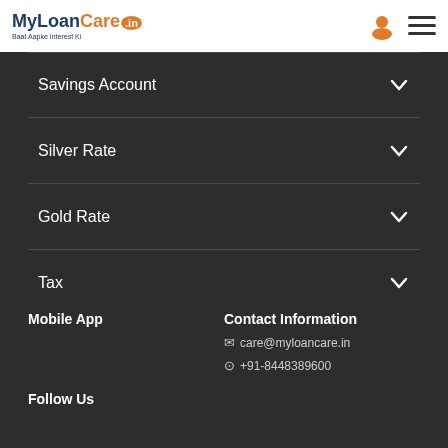MyLoanCare.in - Baat Aapke Interest Ki
Savings Account
Silver Rate
Gold Rate
Tax
Others
Insurance
PMAY
Land Records
Mobile App
Contact Information
care@myloancare.in
+91-8448389600
Follow Us